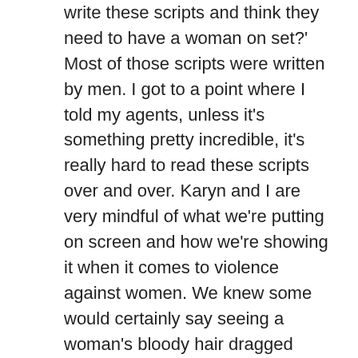write these scripts and think they need to have a woman on set?' Most of those scripts were written by men. I got to a point where I told my agents, unless it's something pretty incredible, it's really hard to read these scripts over and over. Karyn and I are very mindful of what we're putting on screen and how we're showing it when it comes to violence against women. We knew some would certainly say seeing a woman's bloody hair dragged through the snow is pretty graphic, and it is, but for it not to actually be a woman suffering on screen for a prolonged period of time and not seeing the graphic nature of it, that's important to Karyn and me, to show that that does exist in the world, but to not make it terribly beautiful."
Many shows with different timelines like ABC's Lost use techniques to let audiences know when they're